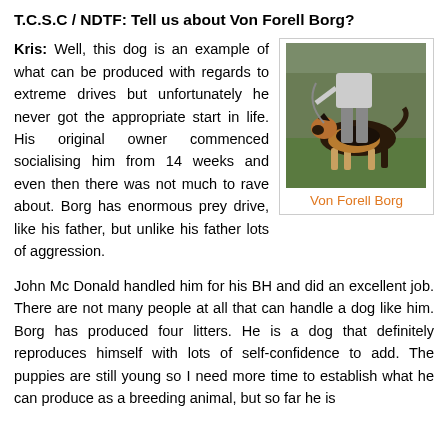T.C.S.C / NDTF: Tell us about Von Forell Borg?
[Figure (photo): A German Shepherd dog on a leash being handled outdoors on grass]
Von Forell Borg
Kris: Well, this dog is an example of what can be produced with regards to extreme drives but unfortunately he never got the appropriate start in life. His original owner commenced socialising him from 14 weeks and even then there was not much to rave about. Borg has enormous prey drive, like his father, but unlike his father lots of aggression.
John Mc Donald handled him for his BH and did an excellent job. There are not many people at all that can handle a dog like him. Borg has produced four litters. He is a dog that definitely reproduces himself with lots of self-confidence to add. The puppies are still young so I need more time to establish what he can produce as a breeding animal, but so far he is